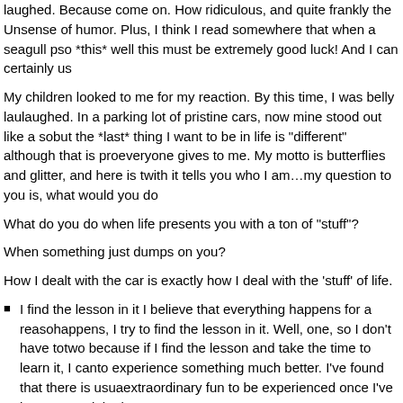laughed. Because come on. How ridiculous, and quite frankly the Universe has a sense of humor. Plus, I think I read somewhere that when a seagull p... so *this* well this must be extremely good luck! And I can certainly us...
My children looked to me for my reaction. By this time, I was belly lau... laughed. In a parking lot of pristine cars, now mine stood out like a so... but the *last* thing I want to be in life is "different" although that is pro... everyone gives to me. My motto is butterflies and glitter, and here is t... with it tells you who I am...my question to you is, what would you do...
What do you do when life presents you with a ton of "stuff"?
When something just dumps on you?
How I dealt with the car is exactly how I deal with the 'stuff' of life.
I find the lesson in it I believe that everything happens for a reaso... happens, I try to find the lesson in it. Well, one, so I don't have to... two because if I find the lesson and take the time to learn it, I can... to experience something much better. I've found that there is usua... extraordinary fun to be experienced once I've incorporated the les...
I identify something about it to give praise for Sometimes it's hard...